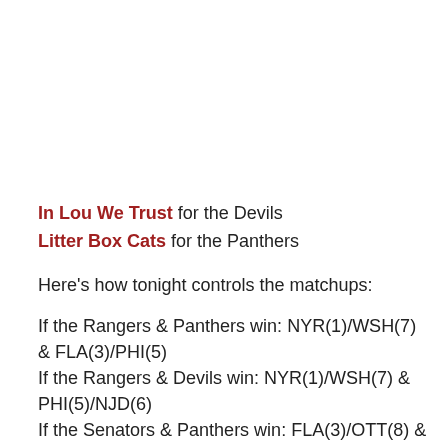In Lou We Trust for the Devils
Litter Box Cats for the Panthers
Here's how tonight controls the matchups:
If the Rangers & Panthers win: NYR(1)/WSH(7) & FLA(3)/PHI(5)
If the Rangers & Devils win: NYR(1)/WSH(7) & PHI(5)/NJD(6)
If the Senators & Panthers win: FLA(3)/OTT(8) & PHI(5)/WSH(7)
If the Senators & Devils win: PHI(5)/OTT(8) &